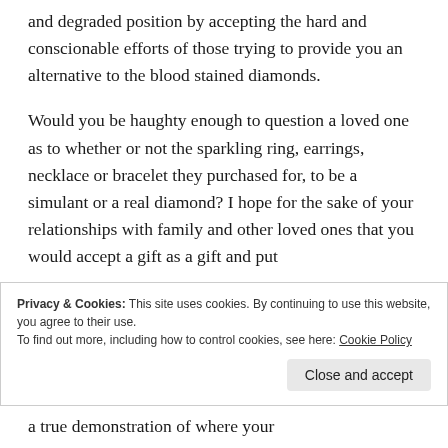and degraded position by accepting the hard and conscionable efforts of those trying to provide you an alternative to the blood stained diamonds.
Would you be haughty enough to question a loved one as to whether or not the sparkling ring, earrings, necklace or bracelet they purchased for, to be a simulant or a real diamond? I hope for the sake of your relationships with family and other loved ones that you would accept a gift as a gift and put
Privacy & Cookies: This site uses cookies. By continuing to use this website, you agree to their use.
To find out more, including how to control cookies, see here: Cookie Policy
Close and accept
a true demonstration of where your